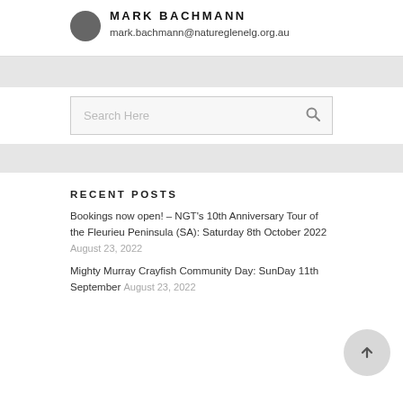MARK BACHMANN
mark.bachmann@natureglenelg.org.au
Search Here
RECENT POSTS
Bookings now open! – NGT's 10th Anniversary Tour of the Fleurieu Peninsula (SA): Saturday 8th October 2022  August 23, 2022
Mighty Murray Crayfish Community Day: SunDay 11th September  August 23, 2022